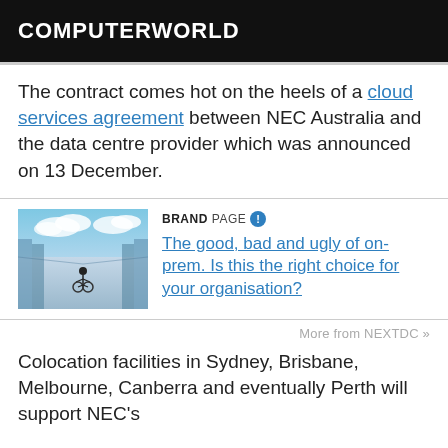COMPUTERWORLD
The contract comes hot on the heels of a cloud services agreement between NEC Australia and the data centre provider which was announced on 13 December.
[Figure (photo): Photo of a person on a bicycle riding through a data centre corridor with clouds above, used as a brand page illustration.]
BRANDPAGE
The good, bad and ugly of on-prem. Is this the right choice for your organisation?
More from NEXTDC »
Colocation facilities in Sydney, Brisbane, Melbourne, Canberra and eventually Perth will support NEC's